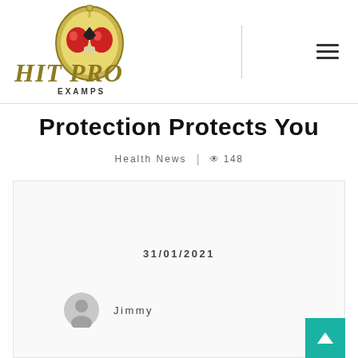HIT PRO EXAMPS — logo with hamburger menu
Protection Protects You
Health News | 148
31/01/2021
Jimmy